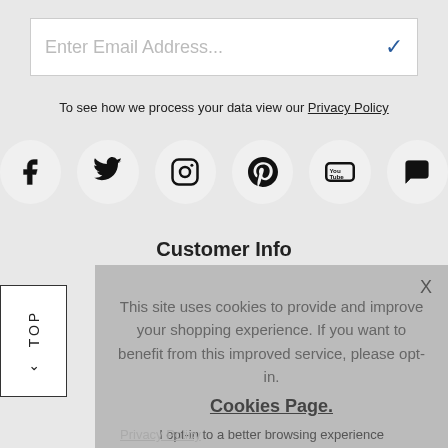[Figure (screenshot): Email address input field with placeholder text and a blue checkmark icon on the right]
To see how we process your data view our Privacy Policy
[Figure (infographic): Row of six social media icons in circles: Facebook, Twitter, Instagram, Pinterest, YouTube, Chat/Comment]
Customer Info
This site uses cookies to provide and improve your shopping experience. If you want to benefit from this improved service, please opt-in. Cookies Page. I opt-in to a better browsing experience
Accept Cookies
Privacy Policy